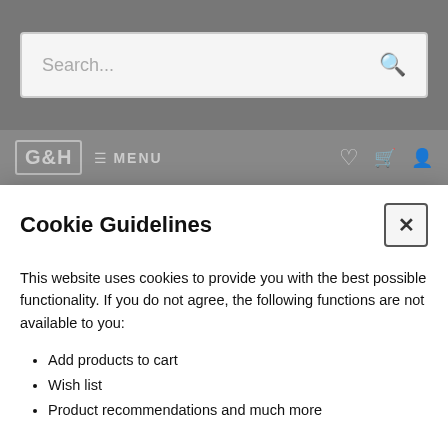Search...
Cookie Guidelines
This website uses cookies to provide you with the best possible functionality. If you do not agree, the following functions are not available to you:
Add products to cart
Wish list
Product recommendations and much more
Close | Accept
40th birthday bliss on historical train, and playing lady of the manor at Eggington House
Tags: Train, Lobster Brunch, Travel, Orient express, Paris, Birthday, Celebration, Eggington, Eggington House, Manor, villa, airbnb, London, UK, England, dogs, labradors, countryside, country, town &